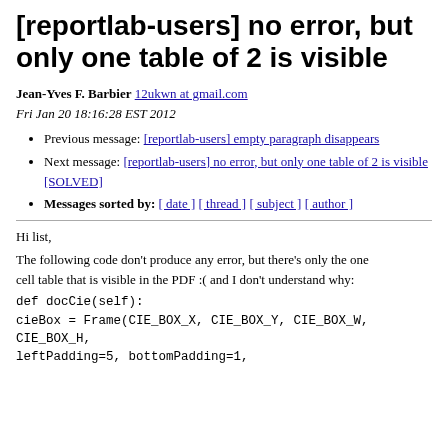[reportlab-users] no error, but only one table of 2 is visible
Jean-Yves F. Barbier 12ukwn at gmail.com
Fri Jan 20 18:16:28 EST 2012
Previous message: [reportlab-users] empty paragraph disappears
Next message: [reportlab-users] no error, but only one table of 2 is visible [SOLVED]
Messages sorted by: [ date ] [ thread ] [ subject ] [ author ]
Hi list,
The following code don't produce any error, but there's only the one
cell table that is visible in the PDF :( and I don't understand why:
def docCie(self):
cieBox = Frame(CIE_BOX_X, CIE_BOX_Y, CIE_BOX_W, CIE_BOX_H,
leftPadding=5, bottomPadding=1,